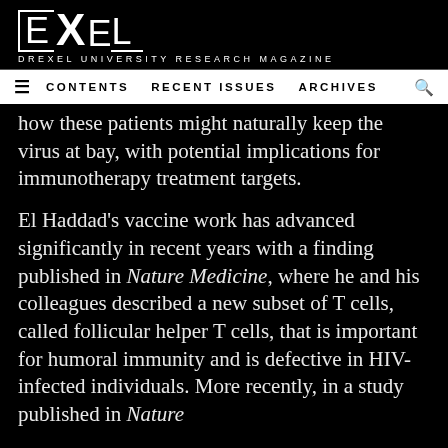EXEL — DREXEL UNIVERSITY RESEARCH MAGAZINE
≡  CONTENTS   RECENT ISSUES   ARCHIVES   🔍
how these patients might naturally keep the virus at bay, with potential implications for immunotherapy treatment targets.
El Haddad's vaccine work has advanced significantly in recent years with a finding published in Nature Medicine, where he and his colleagues described a new subset of T cells, called follicular helper T cells, that is important for humoral immunity and is defective in HIV-infected individuals. More recently, in a study published in Nature